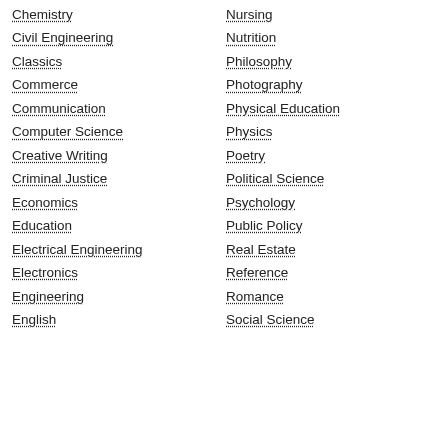Chemistry
Nursing
Civil Engineering
Nutrition
Classics
Philosophy
Commerce
Photography
Communication
Physical Education
Computer Science
Physics
Creative Writing
Poetry
Criminal Justice
Political Science
Economics
Psychology
Education
Public Policy
Electrical Engineering
Real Estate
Electronics
Reference
Engineering
Romance
English
Social Science